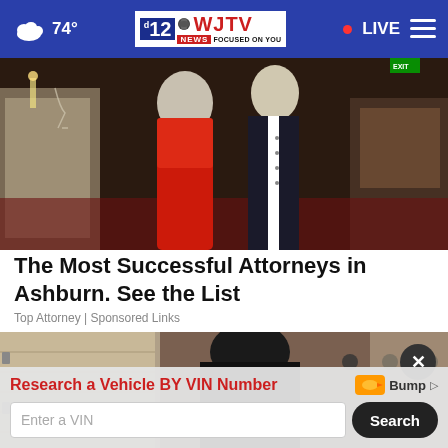74° WJTV 12 News Focused on You · LIVE
[Figure (photo): Two people at a formal event, one wearing a red strapless dress and one in a dark suit with white shirt, in a restaurant/ballroom setting]
The Most Successful Attorneys in Ashburn. See the List
Top Attorney | Sponsored Links
[Figure (photo): Person in dark clothing, partial view, at a doorway or indoor setting]
Research a Vehicle BY VIN Number — Bump | Enter a VIN | Search